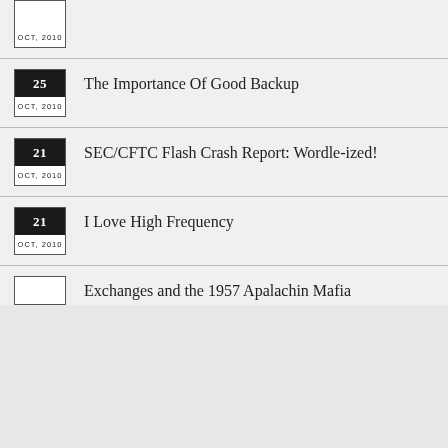OCT, 2010 (partial top entry)
25 OCT, 2010 — The Importance Of Good Backup
21 OCT, 2010 — SEC/CFTC Flash Crash Report: Wordle-ized!
21 OCT, 2010 — I Love High Frequency
Exchanges and the 1957 Apalachin Mafia (partial bottom entry)